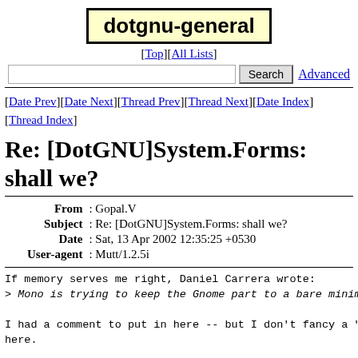dotgnu-general
[Top][All Lists]
Search  Advanced
[Date Prev][Date Next][Thread Prev][Thread Next][Date Index][Thread Index]
Re: [DotGNU]System.Forms: shall we?
| From | Gopal.V |
| Subject | Re: [DotGNU]System.Forms: shall we? |
| Date | Sat, 13 Apr 2002 12:35:25 +0530 |
| User-agent | Mutt/1.2.5i |
If memory serves me right, Daniel Carrera wrote:
> Mono is trying to keep the Gnome part to a bare minimun

I had a comment to put in here -- but I don't fancy a "fi
here.

> However, it won't be possible to "snip off" the Gtk pa
> Windows.Forms will be based around Gtk# which, clearly,